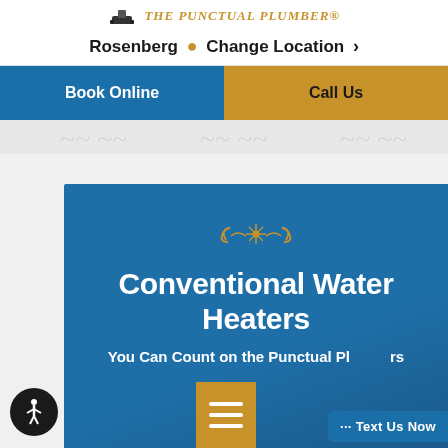THE PUNCTUAL PLUMBER®
Rosenberg  Change Location
Book Online
Call Us
Conventional Water Heaters
You Can Count on the Punctual Plumbers
··· Text Us Now